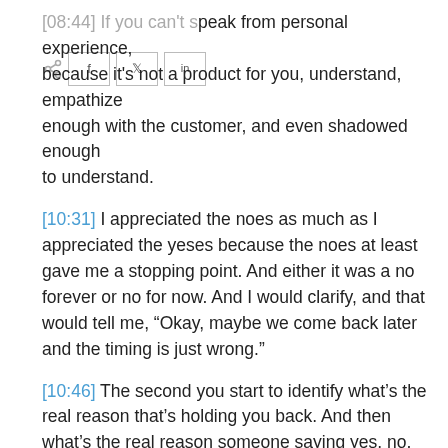[08:44] If you can't speak from personal experience, because it's not a product for you, understand, empathize enough with the customer, and even shadowed enough to understand.
[10:31] I appreciated the noes as much as I appreciated the yeses because the noes at least gave me a stopping point. And either it was a no forever or no for now. And I would clarify, and that would tell me, “Okay, maybe we come back later and the timing is just wrong.”
[10:46] The second you start to identify what’s the real reason that’s holding you back. And then what’s the real reason someone saying yes, no, or maybe the better it is for everyone.
[11:25] You have to be persistent and not bashful enough